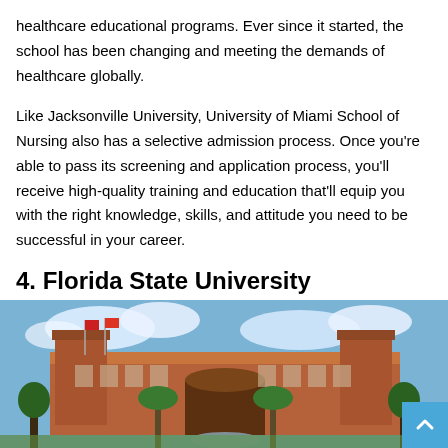healthcare educational programs. Ever since it started, the school has been changing and meeting the demands of healthcare globally.
Like Jacksonville University, University of Miami School of Nursing also has a selective admission process. Once you're able to pass its screening and application process, you'll receive high-quality training and education that'll equip you with the right knowledge, skills, and attitude you need to be successful in your career.
4. Florida State University
[Figure (photo): Exterior photo of Florida State University's main building — a large red-brick collegiate Gothic structure with towers, arched entrance, and palm trees in front under a partly cloudy sky.]